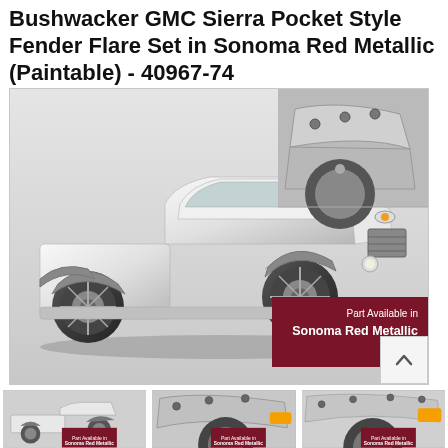Bushwacker GMC Sierra Pocket Style Fender Flare Set in Sonoma Red Metallic (Paintable) - 40967-74
[Figure (photo): Main product image showing a white/silver GMC Sierra pickup truck with pocket-style fender flares installed. Top right inset shows close-up of rear fender flare. Bottom right overlay shows dark red badge reading 'Part Available in Sonoma Red Metallic'. A scroll-up arrow button appears at bottom right corner of image frame.]
[Figure (photo): Thumbnail 1: GMC Sierra truck side view with fender flares and red Sonoma badge overlay at bottom right.]
[Figure (photo): Thumbnail 2: Close-up of rear wheel/fender flare on GMC Sierra with Sonoma Red Metallic badge.]
[Figure (photo): Thumbnail 3: Close-up of front fender flare on GMC Sierra with Sonoma Red Metallic badge.]